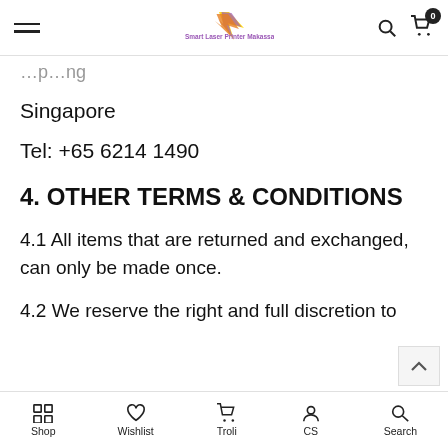Smart Laser Printer Makassar (navigation bar with hamburger menu, logo, search and cart icons)
Singapore
Tel: +65 6214 1490
4. OTHER TERMS & CONDITIONS
4.1 All items that are returned and exchanged, can only be made once.
4.2 We reserve the right and full discretion to
Shop | Wishlist | Troli | CS | Search